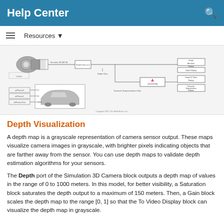Help Center
[Figure (screenshot): Simulink block diagram showing a 3D simulation camera setup with depth data processing, semantic segmentation, and various display blocks including Depth Display, To Video Display, and Semantic Segmentation Display. Copyright 2021 The MathWorks, Inc.]
Depth Visualization
A depth map is a grayscale representation of camera sensor output. These maps visualize camera images in grayscale, with brighter pixels indicating objects that are farther away from the sensor. You can use depth maps to validate depth estimation algorithms for your sensors.
The Depth port of the Simulation 3D Camera block outputs a depth map of values in the range of 0 to 1000 meters. In this model, for better visibility, a Saturation block saturates the depth output to a maximum of 150 meters. Then, a Gain block scales the depth map to the range [0, 1] so that the To Video Display block can visualize the depth map in grayscale.